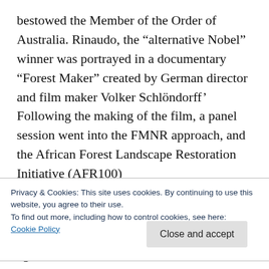bestowed the Member of the Order of Australia. Rinaudo, the “alternative Nobel” winner was portrayed in a documentary “Forest Maker” created by German director and film maker Volker Schlöndorff’ Following the making of the film, a panel session went into the FMNR approach, and the African Forest Landscape Restoration Initiative (AFR100)
Tony Rinaudo, from Australia happened upon one of St. Barbe’s Sahara books which
Privacy & Cookies: This site uses cookies. By continuing to use this website, you agree to their use.
To find out more, including how to control cookies, see here:
Cookie Policy
regeneration. He is an Australian agronomist